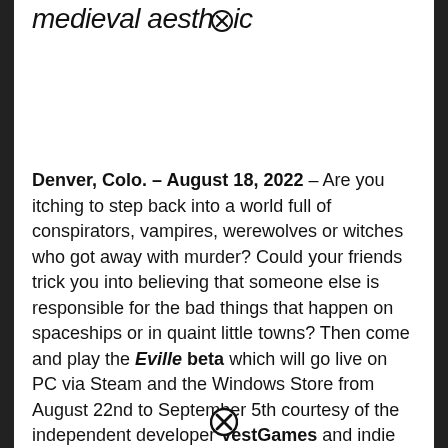medieval aesthetic
Denver, Colo. – August 18, 2022 – Are you itching to step back into a world full of conspirators, vampires, werewolves or witches who got away with murder? Could your friends trick you into believing that someone else is responsible for the bad things that happen on spaceships or in quaint little towns? Then come and play the Eville beta which will go live on PC via Steam and the Windows Store from August 22nd to September 5th courtesy of the independent developer VestGames and indie publishers Against the evil.